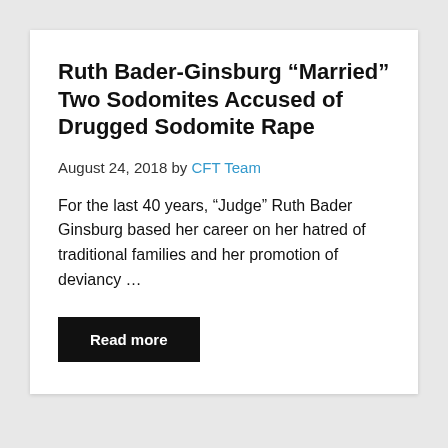Ruth Bader-Ginsburg “Married” Two Sodomites Accused of Drugged Sodomite Rape
August 24, 2018 by CFT Team
For the last 40 years, “Judge” Ruth Bader Ginsburg based her career on her hatred of traditional families and her promotion of deviancy …
Read more